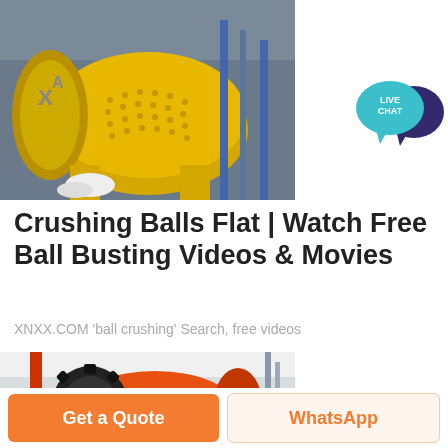[Figure (photo): Industrial yellow ball mill machine in a factory setting, with cylindrical drum and supporting structure]
[Figure (illustration): Live Chat widget with teal speech bubble saying LIVE CHAT and dark purple chat bubble overlapping]
Crushing Balls Flat | Watch Free Ball Busting Videos & Movies
XNXX.COM 'ball crushing' Search, free videos
[Figure (photo): Industrial orange ball mill machine with visible gear mechanism and cylindrical drum in a white industrial building]
Get a Quote
WhatsApp